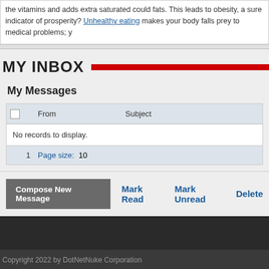the vitamins and adds extra saturated could fats. This leads to obesity, a sure indicator of prosperity? Unhealthy eating makes your body falls prey to medical problems; y
MY INBOX
My Messages
|  | From | Subject |
| --- | --- | --- |
| No records to display. |
| 1 | Page size: 10 |
Compose New Message   Mark Read   Mark Unread   Delete
Copyright 2022 by DotNetNuke Corporation